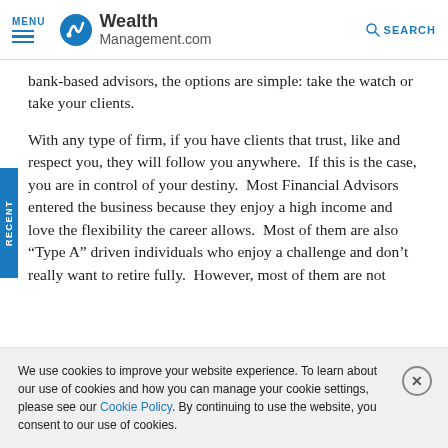MENU | Wealth Management.com | SEARCH
bank-based advisors, the options are simple: take the watch or take your clients.
With any type of firm, if you have clients that trust, like and respect you, they will follow you anywhere.  If this is the case, you are in control of your destiny.  Most Financial Advisors entered the business because they enjoy a high income and love the flexibility the career allows.  Most of them are also "Type A" driven individuals who enjoy a challenge and don't really want to retire fully.  However, most of them are not
We use cookies to improve your website experience. To learn about our use of cookies and how you can manage your cookie settings, please see our Cookie Policy. By continuing to use the website, you consent to our use of cookies.